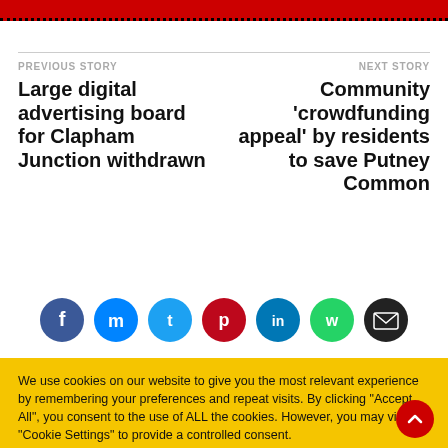PREVIOUS STORY
Large digital advertising board for Clapham Junction withdrawn
NEXT STORY
Community 'crowdfunding appeal' by residents to save Putney Common
[Figure (infographic): Social media share icons: Facebook, Messenger, Twitter, Pinterest, LinkedIn, WhatsApp, Email]
We use cookies on our website to give you the most relevant experience by remembering your preferences and repeat visits. By clicking "Accept All", you consent to the use of ALL the cookies. However, you may visit "Cookie Settings" to provide a controlled consent.